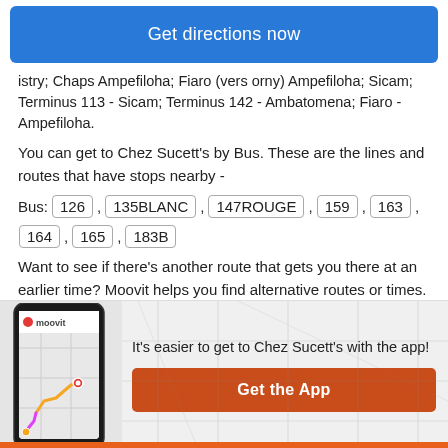[Figure (other): Blue 'Get directions now' button]
istry; Chaps Ampefiloha; Fiaro (vers orny) Ampefiloha; Sicam; Terminus 113 - Sicam; Terminus 142 - Ambatomena; Fiaro - Ampefiloha.
You can get to Chez Sucett's by Bus. These are the lines and routes that have stops nearby -
Bus: 126 , 135BLANC , 147ROUGE , 159 , 163 , 164 , 165 , 183B
Want to see if there's another route that gets you there at an earlier time? Moovit helps you find alternative routes or times. Get directions from and directions to
[Figure (screenshot): Moovit app phone screenshot with map route]
It's easier to get to Chez Sucett's with the app!
[Figure (other): Orange 'Get the App' button]